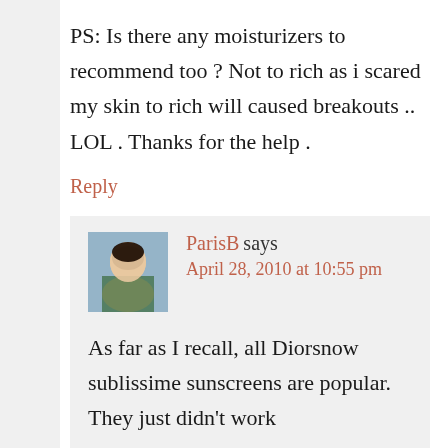PS: Is there any moisturizers to recommend too ? Not to rich as i scared my skin to rich will caused breakouts .. LOL . Thanks for the help .
Reply
ParisB says
April 28, 2010 at 10:55 pm
As far as I recall, all Diorsnow sublissime sunscreens are popular. They just didn't work